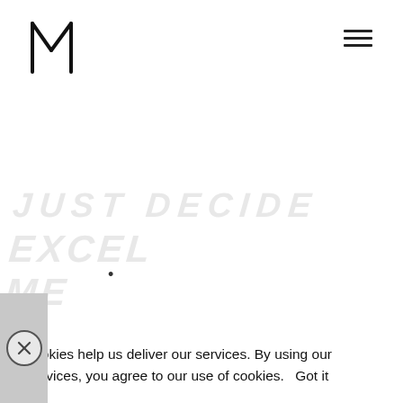[Figure (logo): Stylized M logo mark in black, resembling angular letter M or crown shape]
[Figure (other): Hamburger menu icon (three horizontal lines) in top right corner]
[Figure (other): Watermark text reading EXCEL ME in large light gray letters at bottom of page]
Cookies help us deliver our services. By using our services, you agree to our use of cookies.    Got it
[Figure (other): Close/X button in circle on gray background at bottom right]